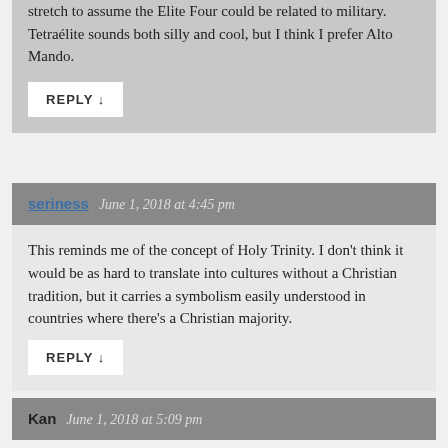stretch to assume the Elite Four could be related to military. Tetraélite sounds both silly and cool, but I think I prefer Alto Mando.
REPLY ↓
seriness   June 1, 2018 at 4:45 pm
This reminds me of the concept of Holy Trinity. I don't think it would be as hard to translate into cultures without a Christian tradition, but it carries a symbolism easily understood in countries where there's a Christian majority.
REPLY ↓
Kan   June 1, 2018 at 5:09 pm